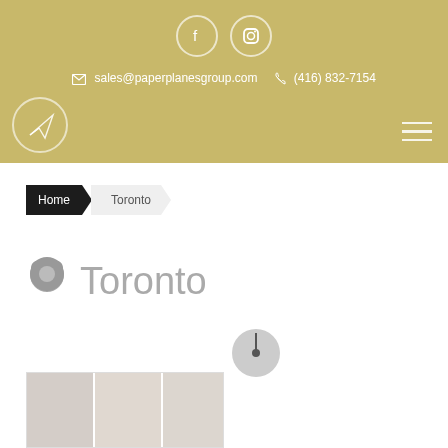Social icons: Facebook, Instagram | sales@paperplanesgroup.com | (416) 832-7154
[Figure (logo): Paper Planes Group logo: circle with paper plane icon, top left of header]
sales@paperplanesgroup.com   (416) 832-7154
Home > Toronto
Toronto
[Figure (photo): Thumbnail strip showing kitchen interior photos at bottom of page]